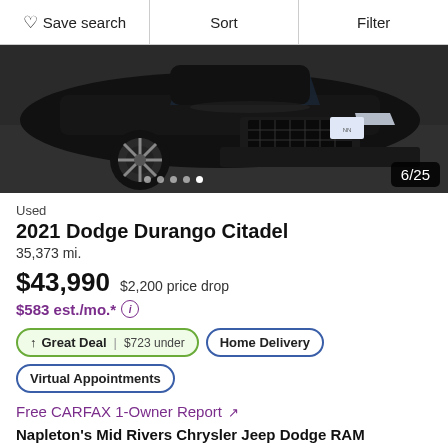Save search | Sort | Filter
[Figure (photo): Black 2021 Dodge Durango Citadel photographed from the front-left angle, showing the hood, grille, headlights, and driver-side wheel. Photo counter 6/25 shown in bottom right corner.]
Used
2021 Dodge Durango Citadel
35,373 mi.
$43,990  $2,200 price drop
$583 est./mo.* ⓘ
↑ Great Deal | $723 under  Home Delivery  Virtual Appointments
Free CARFAX 1-Owner Report ↗
Napleton's Mid Rivers Chrysler Jeep Dodge RAM